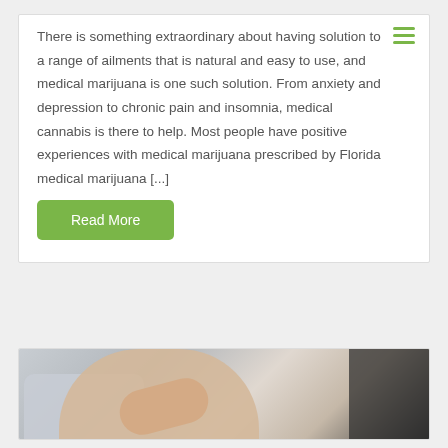There is something extraordinary about having solution to a range of ailments that is natural and easy to use, and medical marijuana is one such solution. From anxiety and depression to chronic pain and insomnia, medical cannabis is there to help. Most people have positive experiences with medical marijuana prescribed by Florida medical marijuana [...]
Read More
[Figure (photo): Photo of a person's arm and hand, partially cropped, appearing to show someone in a light-colored shirt with a hand extended]